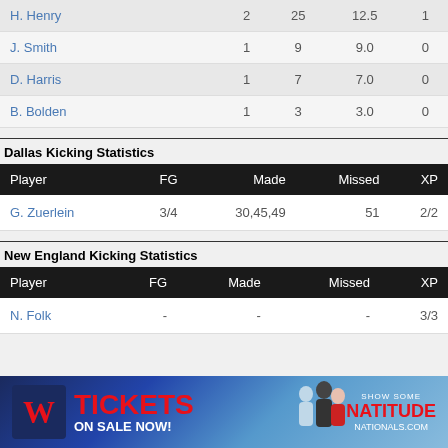| Player | Rec | Yds | Avg | TD |
| --- | --- | --- | --- | --- |
| H. Henry | 2 | 25 | 12.5 | 1 |
| J. Smith | 1 | 9 | 9.0 | 0 |
| D. Harris | 1 | 7 | 7.0 | 0 |
| B. Bolden | 1 | 3 | 3.0 | 0 |
Dallas Kicking Statistics
| Player | FG | Made | Missed | XP |
| --- | --- | --- | --- | --- |
| G. Zuerlein | 3/4 | 30,45,49 | 51 | 2/2 |
New England Kicking Statistics
| Player | FG | Made | Missed | XP |
| --- | --- | --- | --- | --- |
| N. Folk | - | - | - | 3/3 |
[Figure (advertisement): Washington Nationals tickets advertisement: TICKETS ON SALE NOW! SHOW SOME NATITUDE. NATIONALS.COM]